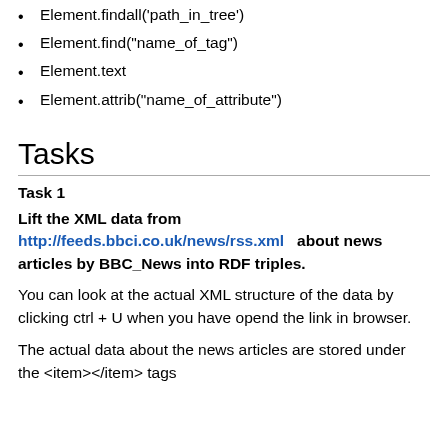Element.findall('path_in_tree')
Element.find("name_of_tag")
Element.text
Element.attrib("name_of_attribute")
Tasks
Task 1
Lift the XML data from http://feeds.bbci.co.uk/news/rss.xml about news articles by BBC_News into RDF triples.
You can look at the actual XML structure of the data by clicking ctrl + U when you have opend the link in browser.
The actual data about the news articles are stored under the <item></item> tags